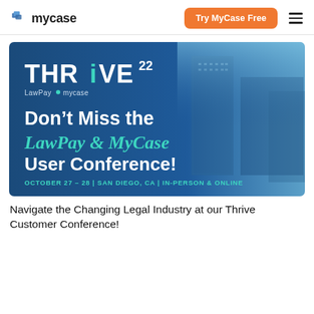mycase
[Figure (illustration): THRIVE 22 LawPay mycase banner. Text reads: Don't Miss the LawPay & MyCase User Conference! OCTOBER 27 - 28 | SAN DIEGO, CA | IN-PERSON & ONLINE. Blue background with city skyline.]
Navigate the Changing Legal Industry at our Thrive Customer Conference!